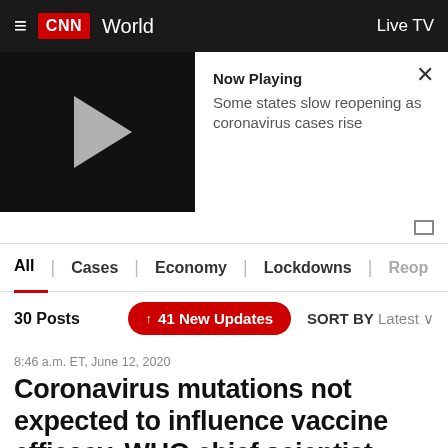CNN World | Live TV
[Figure (screenshot): CNN video player showing Now Playing: Some states slow reopening as coronavirus cases rise]
Now Playing
Some states slow reopening as coronavirus cases rise
All | Cases | Economy | Lockdowns | Reop
30 Posts   ↑ 41 New Updates   SORT BY Latest
8:46 a.m. ET, June 12, 2020
Coronavirus mutations not expected to influence vaccine efficacy, WHO chief scientist says
From CNN Health's Jacqueline Howard